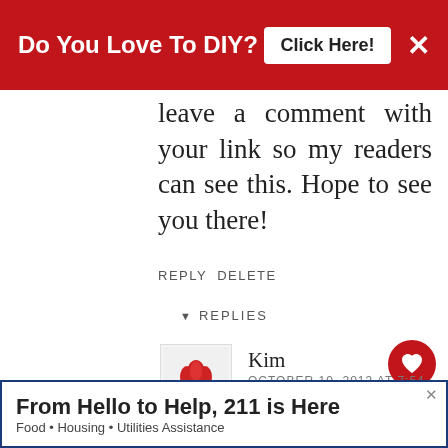[Figure (other): Red banner advertisement: 'Do You Love To DIY? Click Here!' with close X button]
leave a comment with your link so my readers can see this. Hope to see you there!
REPLY DELETE
▼ REPLIES
[Figure (logo): Blog avatar with flower/tulip illustration]
Kim
OCTOBER 10, 2013 AT 7:54 PM
Angel, thanks for checking it out, thanks for the but thanks. most of the genius comment! ;)
[Figure (other): What's Next panel showing Summer Sticker Sign... with floral image thumbnail]
[Figure (other): Bottom advertisement banner: From Hello to Help, 211 is Here - Food • Housing • Utilities Assistance]